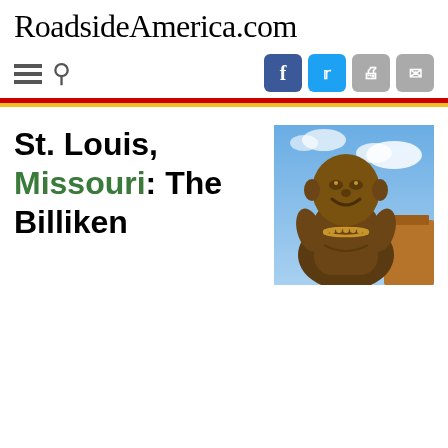RoadsideAmerica.com
St. Louis, Missouri: The Billiken
[Figure (photo): Bronze Billiken statue against a blue sky with clouds and brick structure in background]